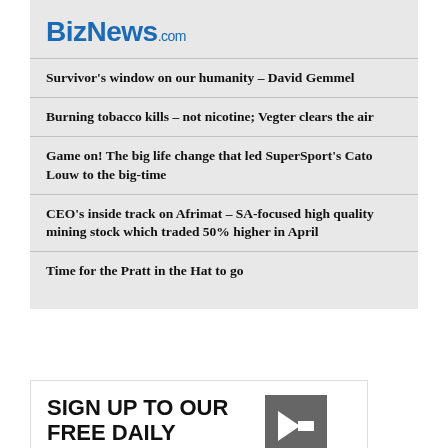BizNews.com
Survivor's window on our humanity – David Gemmel
Burning tobacco kills – not nicotine; Vegter clears the air
Game on! The big life change that led SuperSport's Cato Louw to the big-time
CEO's inside track on Afrimat – SA-focused high quality mining stock which traded 50% higher in April
Time for the Pratt in the Hat to go
SIGN UP TO OUR FREE DAILY HEADLINE NEWSLETTER.